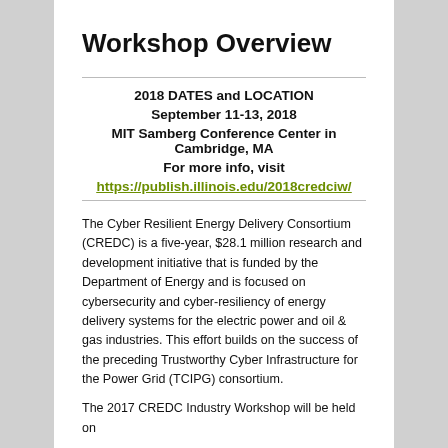Workshop Overview
2018 DATES and LOCATION
September 11-13, 2018
MIT Samberg Conference Center in Cambridge, MA
For more info, visit
https://publish.illinois.edu/2018credciw/
The Cyber Resilient Energy Delivery Consortium (CREDC) is a five-year, $28.1 million research and development initiative that is funded by the Department of Energy and is focused on cybersecurity and cyber-resiliency of energy delivery systems for the electric power and oil & gas industries. This effort builds on the success of the preceding Trustworthy Cyber Infrastructure for the Power Grid (TCIPG) consortium.
The 2017 CREDC Industry Workshop will be held on